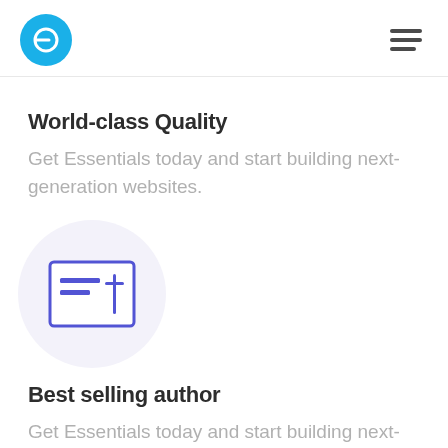[Figure (logo): Circular blue logo with white 'e' letter icon, and hamburger menu icon on the right]
World-class Quality
Get Essentials today and start building next-generation websites.
[Figure (illustration): Purple/blue certificate or form icon on a light purple circular background]
Best selling author
Get Essentials today and start building next-generation websites.